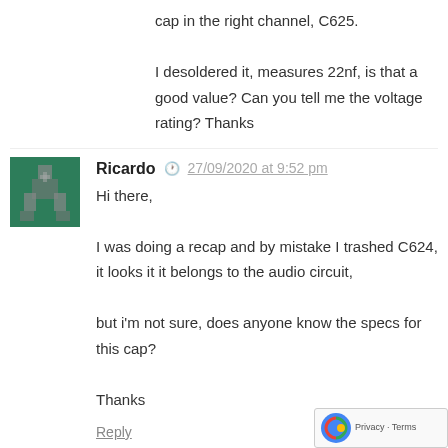cap in the right channel, C625.
I desoldered it, measures 22nf, is that a good value? Can you tell me the voltage rating? Thanks
Ricardo  27/09/2020 at 9:52 pm
Hi there,
I was doing a recap and by mistake I trashed C624, it looks it it belongs to the audio circuit,
but i'm not sure, does anyone know the specs for this cap?
Thanks
Reply
8bitplus  27/09/2020 at 10:06 pm
It's not on my diagrams as being part of the audio system. I'd leave it off and finish the rest. Then if the audio is not working, try bridging the cap. Is it a